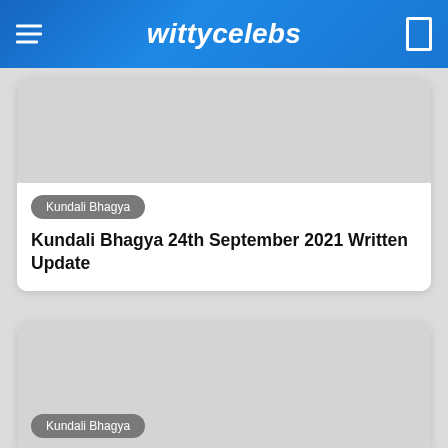wittycelebs
[Figure (screenshot): Gray placeholder image for article card]
Kundali Bhagya
Kundali Bhagya 24th September 2021 Written Update
[Figure (screenshot): Gray placeholder image for second article card]